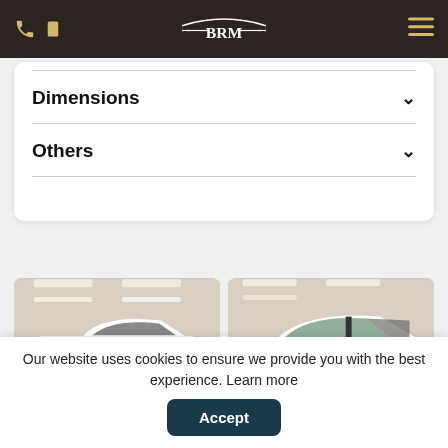BRM
Dimensions
Others
[Figure (photo): White Audi RS3 Sportback rear three-quarter view in a showroom with ceiling lights]
[Figure (photo): White Audi RS3 Sportback side profile view in a showroom]
Our website uses cookies to ensure we provide you with the best experience. Learn more
Accept